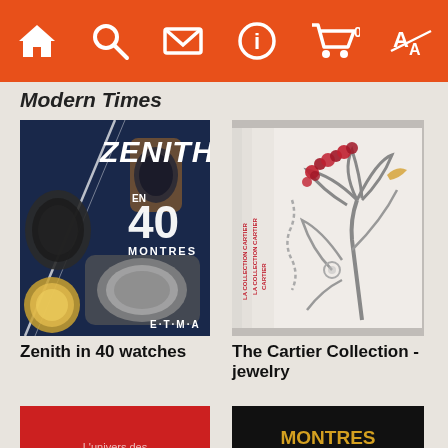Navigation bar with home, search, mail, info, cart (0), translate icons
Modern Times
[Figure (photo): Book cover: Zenith in 40 watches - dark blue cover with watch photographs and ZENITH logo]
Zenith in 40 watches
[Figure (photo): Book cover: The Cartier Collection - jewelry, white cover with jeweled flower/palm tree design]
The Cartier Collection - jewelry
[Figure (photo): Book cover: L'univers des Montres - red cover (partially visible, bottom row)]
[Figure (photo): Book cover: Montres & Automobiles - Symboles de l'excellence, black cover (partially visible, bottom row)]